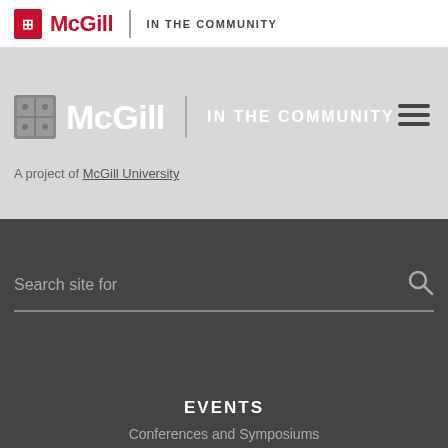McGill | IN THE COMMUNITY
[Figure (logo): McGill University shield logo with text McGill IN THE COMMUNITY - large version in hero area]
A project of McGill University
Search site for
EVENTS
Conferences and Symposiums